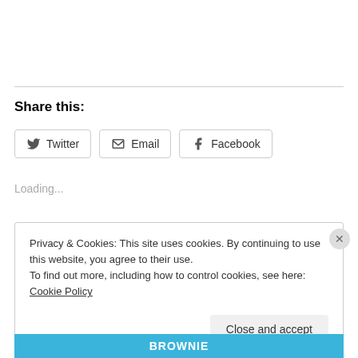Share this:
Twitter   Email   Facebook
Loading...
Privacy & Cookies: This site uses cookies. By continuing to use this website, you agree to their use.
To find out more, including how to control cookies, see here: Cookie Policy
Close and accept